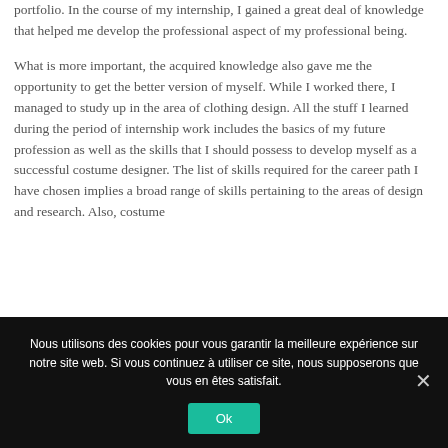portfolio. In the course of my internship, I gained a great deal of knowledge that helped me develop the professional aspect of my professional being.
What is more important, the acquired knowledge also gave me the opportunity to get the better version of myself. While I worked there, I managed to study up in the area of clothing design. All the stuff I learned during the period of internship work includes the basics of my future profession as well as the skills that I should possess to develop myself as a successful costume designer. The list of skills required for the career path I have chosen implies a broad range of skills pertaining to the areas of design and research. Also, costume
Nous utilisons des cookies pour vous garantir la meilleure expérience sur notre site web. Si vous continuez à utiliser ce site, nous supposerons que vous en êtes satisfait.
Ok